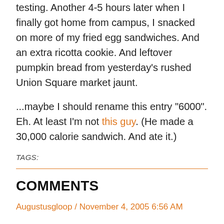testing. Another 4-5 hours later when I finally got home from campus, I snacked on more of my fried egg sandwiches. And an extra ricotta cookie. And leftover pumpkin bread from yesterday's rushed Union Square market jaunt.
...maybe I should rename this entry "6000". Eh. At least I'm not this guy. (He made a 30,000 calorie sandwich. And ate it.)
TAGS:
COMMENTS
Augustusgloop / November 4, 2005 6:56 AM